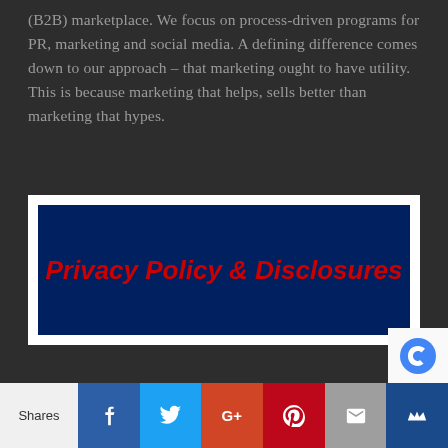(B2B) marketplace. We focus on process-driven programs for PR, marketing and social media. A defining difference comes down to our approach – that marketing ought to have utility. This is because marketing that helps, sells better than marketing that hypes.
[Figure (other): Dark navy blue banner with bold italic red text reading 'Privacy Policy & Disclosures', surrounded by a white border frame]
Shares | Facebook | Twitter | Google+ | Pinterest | Email | Kik